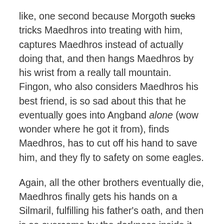like, one second because Morgoth sucks tricks Maedhros into treating with him, captures Maedhros instead of actually doing that, and then hangs Maedhros by his wrist from a really tall mountain. Fingon, who also considers Maedhros his best friend, is so sad about this that he eventually goes into Angband alone (wow wonder where he got it from), finds Maedhros, has to cut off his hand to save him, and they fly to safety on some eagles.
Again, all the other brothers eventually die, Maedhros finally gets his hands on a Silmaril, fulfilling his father's oath, and then is so overcome by the darkness inside it thanks Morgoth that he throws himself in a fire and dies. It's very sad.
Curufin